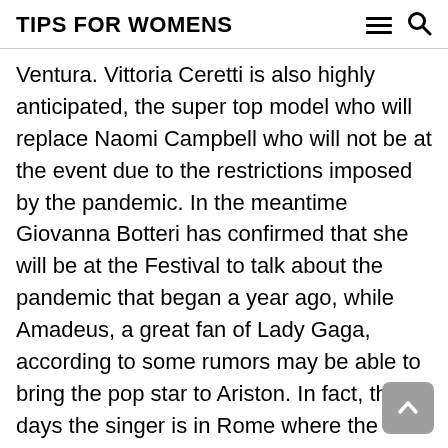TIPS FOR WOMENS
Ventura. Vittoria Ceretti is also highly anticipated, the super top model who will replace Naomi Campbell who will not be at the event due to the restrictions imposed by the pandemic. In the meantime Giovanna Botteri has confirmed that she will be at the Festival to talk about the pandemic that began a year ago, while Amadeus, a great fan of Lady Gaga, according to some rumors may be able to bring the pop star to Ariston. In fact, these days the singer is in Rome where the shooting of Gucci, the new film by director Ridley Scott, has just begun